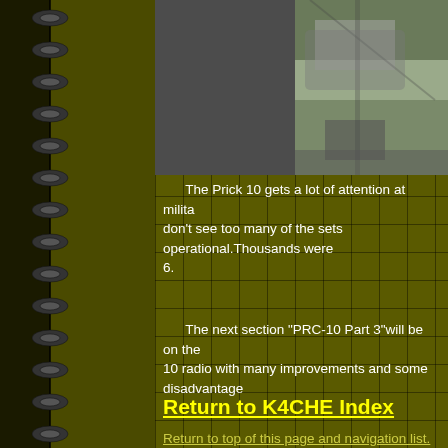[Figure (photo): Military radio equipment photo, partially visible at top right of page]
The Prick 10 gets a lot of attention at milita... don't see too many of the sets operational. Thousands were... 6.
The next section "PRC-10 Part 3" will be on the... 10 radio with many improvements and some disadvantage...
Return to K4CHE Index
Return to top of this page and navigation list.
Go to PRC-10 part 1.